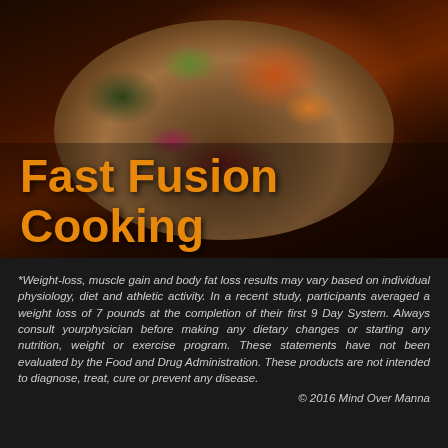[Figure (photo): Close-up photo of a food dish — a flatbread/tortilla topped with colorful vegetables including red peppers, green herbs, red onion, and leafy greens, with a dark red sauce, displayed on a plate against a dark background. Overlaid with the title text 'Fast Fusion Cooking' in orange bold font.]
Fast Fusion Cooking
*Weight-loss, muscle gain and body fat loss results may vary based on individual physiology, diet and athletic activity. In a recent study, participants averaged a weight loss of 7 pounds at the completion of their first 9 Day System. Always consult yourphysician before making any dietary changes or starting any nutrition, weight or exercise program. These statements have not been evaluated by the Food and Drug Administration. These products are not intended to diagnose, treat, cure or prevent any disease.
© 2016 Mind Over Manna